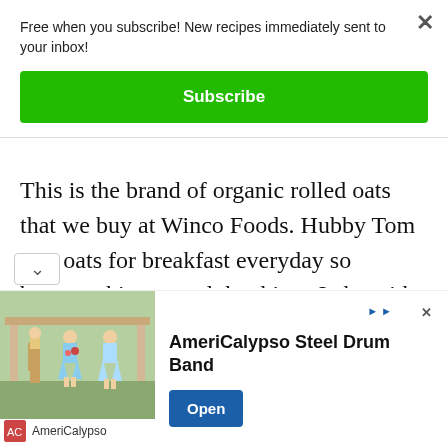Free when you subscribe! New recipes immediately sent to your inbox!
Subscribe
This is the brand of organic rolled oats that we buy at Winco Foods. Hubby Tom eats oats for breakfast everyday so between his use and the things I ake with oats we go through a lot of
[Figure (photo): Advertisement photo showing people dancing, AmeriCalypso Steel Drum Band ad with Open button]
AmeriCalypso Steel Drum Band
Open
AmeriCalypso